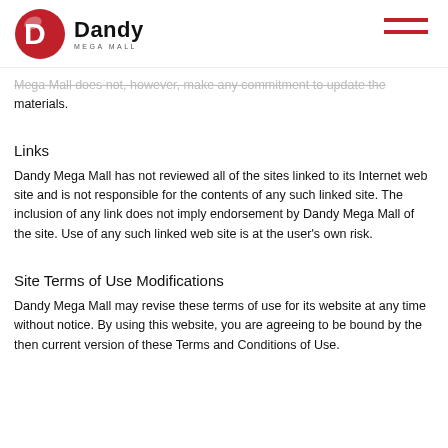Dandy Mega Mall
Mega Mall does not, however, make any commitment to update the materials.
Links
Dandy Mega Mall has not reviewed all of the sites linked to its Internet web site and is not responsible for the contents of any such linked site. The inclusion of any link does not imply endorsement by Dandy Mega Mall of the site. Use of any such linked web site is at the user's own risk.
Site Terms of Use Modifications
Dandy Mega Mall may revise these terms of use for its website at any time without notice. By using this website, you are agreeing to be bound by the then current version of these Terms and Conditions of Use.